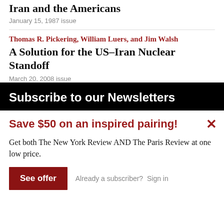Iran and the Americans
January 15, 1987 issue
Thomas R. Pickering, William Luers, and Jim Walsh
A Solution for the US–Iran Nuclear Standoff
March 20, 2008 issue
Subscribe to our Newsletters
Save $50 on an inspired pairing!
Get both The New York Review AND The Paris Review at one low price.
See offer
Already a subscriber?  Sign in